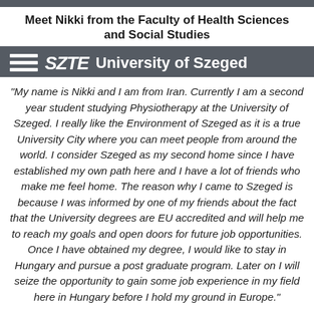Meet Nikki from the Faculty of Health Sciences and Social Studies
[Figure (logo): SZTE University of Szeged logo with hamburger menu icon on dark grey background]
"My name is Nikki and I am from Iran. Currently I am a second year student studying Physiotherapy at the University of Szeged. I really like the Environment of Szeged as it is a true University City where you can meet people from around the world. I consider Szeged as my second home since I have established my own path here and I have a lot of friends who make me feel home. The reason why I came to Szeged is because I was informed by one of my friends about the fact that the University degrees are EU accredited and will help me to reach my goals and open doors for future job opportunities. Once I have obtained my degree, I would like to stay in Hungary and pursue a post graduate program. Later on I will seize the opportunity to gain some job experience in my field here in Hungary before I hold my ground in Europe."